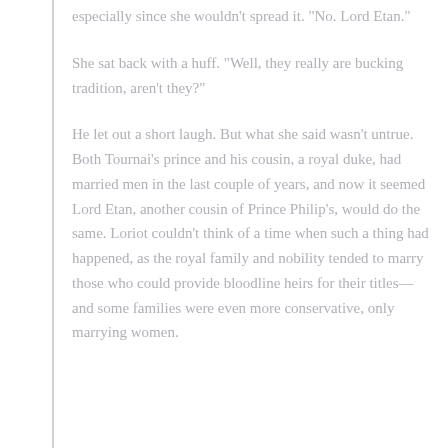especially since she wouldn’t spread it. “No. Lord Etan.”
She sat back with a huff. “Well, they really are bucking tradition, aren’t they?”
He let out a short laugh. But what she said wasn’t untrue. Both Tournai’s prince and his cousin, a royal duke, had married men in the last couple of years, and now it seemed Lord Etan, another cousin of Prince Philip’s, would do the same. Loriot couldn’t think of a time when such a thing had happened, as the royal family and nobility tended to marry those who could provide bloodline heirs for their titles—and some families were even more conservative, only marrying women.